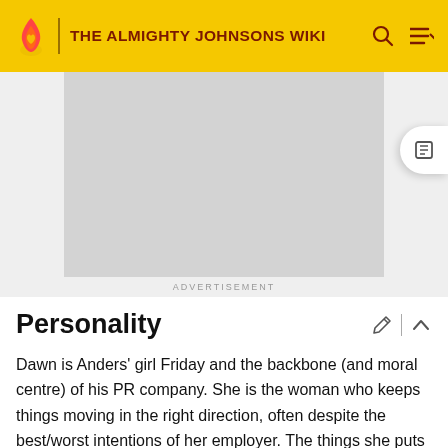THE ALMIGHTY JOHNSONS WIKI
[Figure (other): Grey advertisement placeholder box]
ADVERTISEMENT
Personality
Dawn is Anders' girl Friday and the backbone (and moral centre) of his PR company. She is the woman who keeps things moving in the right direction, often despite the best/worst intentions of her employer. The things she puts up with from him are so remarkable that she wonders why she still works here. In fact, Dawn thinks